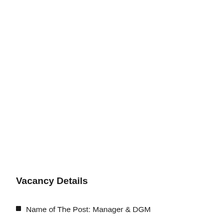Vacancy Details
Name of The Post: Manager & DGM